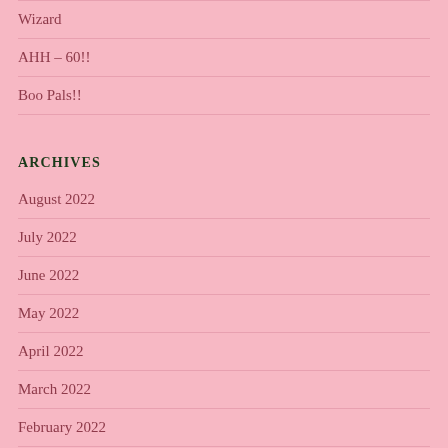Wizard
AHH – 60!!
Boo Pals!!
ARCHIVES
August 2022
July 2022
June 2022
May 2022
April 2022
March 2022
February 2022